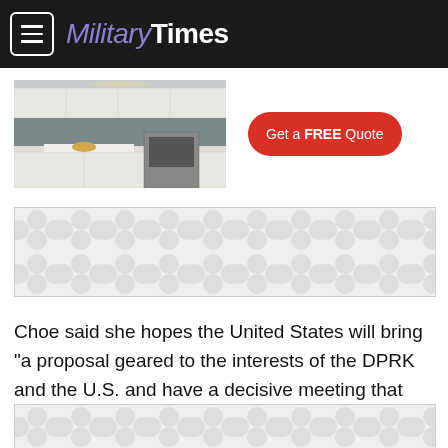Military Times
[Figure (photo): Advertisement banner showing a modern kitchen with white cabinets and stainless steel appliances, alongside a red 'Get a FREE Quote' button]
[Figure (other): Advertisement placeholder with grey patterned background]
Choe said she hopes the United States will bring "a proposal geared to the interests of the DPRK and the U.S. and have a decisive meeting that can be held to..."
[Figure (other): Advertisement placeholder with grey patterned background at bottom]